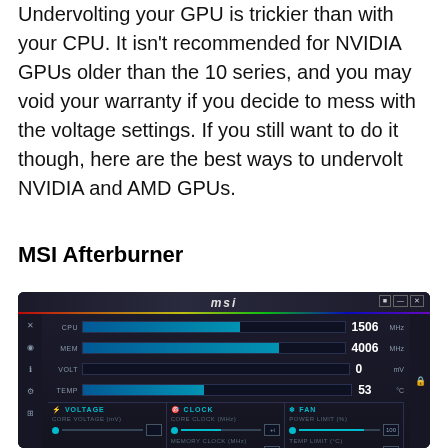Undervolting your GPU is trickier than with your CPU. It isn't recommended for NVIDIA GPUs older than the 10 series, and you may void your warranty if you decide to mess with the voltage settings. If you still want to do it though, here are the best ways to undervolt NVIDIA and AMD GPUs.
MSI Afterburner
[Figure (screenshot): MSI Afterburner GPU overclocking/undervolting software interface showing CPU at 1506 MHz, MEM at 4006 MHz, VOLT at 0 mV, TEMP at 53°C, with VOLTAGE, CLOCK, and FAN control panels at the bottom.]